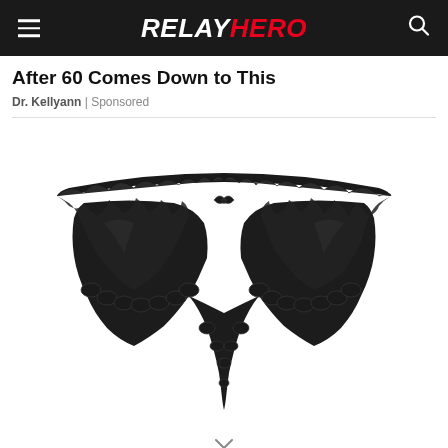RELAYHERO
After 60 Comes Down to This
Dr. Kellyann | Sponsored
[Figure (photo): Black lace thong underwear on white background]